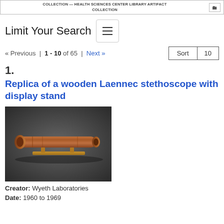COLLECTION — HEALTH SCIENCES CENTER LIBRARY ARTIFACT COLLECTION
Limit Your Search
« Previous | 1 - 10 of 65 | Next »
Sort  10
1.
Replica of a wooden Laennec stethoscope with display stand
[Figure (photo): Photograph of a wooden Laennec stethoscope replica with display stand, resting on a dark gray background. The stethoscope is cylindrical and wooden, brown in color.]
Creator:  Wyeth Laboratories
Date:  1960 to 1969